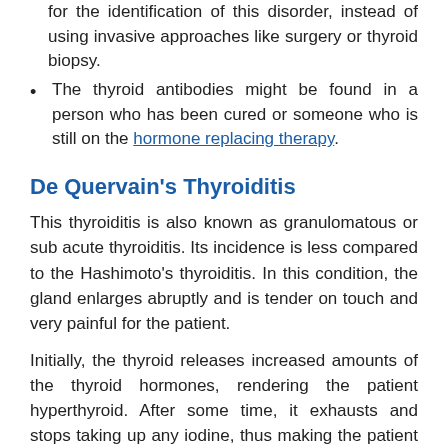for the identification of this disorder, instead of using invasive approaches like surgery or thyroid biopsy.
The thyroid antibodies might be found in a person who has been cured or someone who is still on the hormone replacing therapy.
De Quervain’s Thyroiditis
This thyroiditis is also known as granulomatous or sub acute thyroiditis. Its incidence is less compared to the Hashimoto’s thyroiditis. In this condition, the gland enlarges abruptly and is tender on touch and very painful for the patient.
Initially, the thyroid releases increased amounts of the thyroid hormones, rendering the patient hyperthyroid. After some time, it exhausts and stops taking up any iodine, thus making the patient hypothyroid.